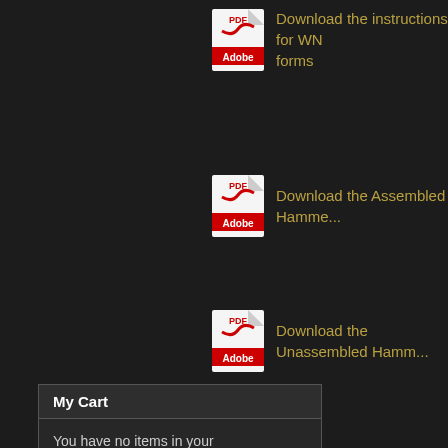Download the instructions for WN forms
Download the Assembled Hammer
Download the Unassembled Hamm
Download the Damper Action orde
Download the Vertical Action orde
My Cart
You have no items in your shopping cart.